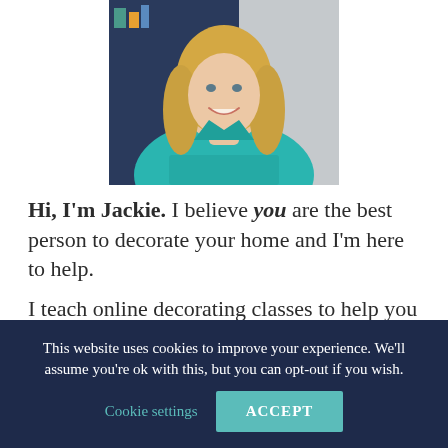[Figure (photo): Portrait photo of a smiling blonde woman wearing a teal/turquoise blazer, photographed in front of a dark blue shelving/bookcase background.]
Hi, I'm Jackie. I believe you are the best person to decorate your home and I'm here to help.
I teach online decorating classes to help you create your dream home. Click on the images
This website uses cookies to improve your experience. We'll assume you're ok with this, but you can opt-out if you wish. Cookie settings ACCEPT